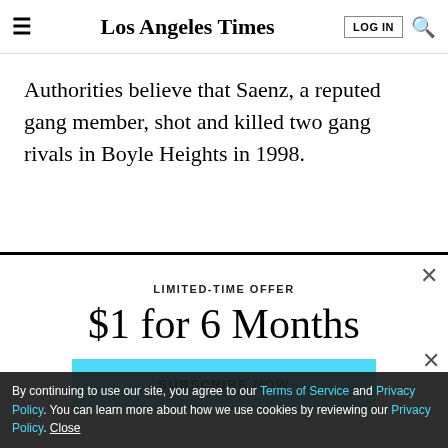Los Angeles Times
Authorities believe that Saenz, a reputed gang member, shot and killed two gang rivals in Boyle Heights in 1998.
LIMITED-TIME OFFER
$1 for 6 Months
SUBSCRIBE NOW
By continuing to use our site, you agree to our Terms of Service and Privacy Policy. You can learn more about how we use cookies by reviewing our Privacy Policy. Close
Season 5 of The Times' go-to podcast is here with